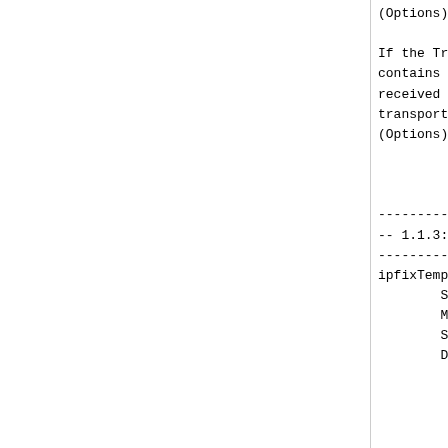(Options) Template

If the Transport S
contains the time
received from the
transport protocol
(Options) Template
::= { ipfixTemplateEnt

--------------------------
-- 1.1.3: Exported Templat
--------------------------
ipfixTemplateDefinitionTab
     SYNTAX      SEQUENCE O
     MAX-ACCESS  not-access
     STATUS      current
     DESCRIPTION
          "On Exporters, th
          of which a (Option
          (Options) Template
          the ipfixTemplate